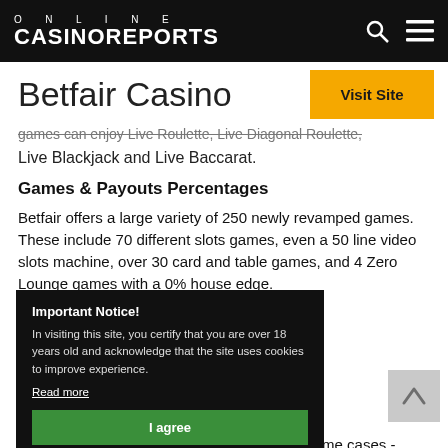ONLINE CASINOREPORTS
Betfair Casino
games can enjoy Live Roulette, Live Diagonal Roulette, Live Blackjack and Live Baccarat.
Games & Payouts Percentages
Betfair offers a large variety of 250 newly revamped games. These include 70 different slots games, even a 50 line video slots machine, over 30 card and table games, and 4 Zero Lounge games with a 0% house edge.
d there are multiple r, arcade, X-games, ted earlier, the payout are really high. Out of pect to recover 99.5 cents Betfair makes on average 5 cents off every dollar bet. And in some cases -
Important Notice!
In visiting this site, you certify that you are over 18 years old and acknowledge that the site uses cookies to improve experience.
Read more
I agree